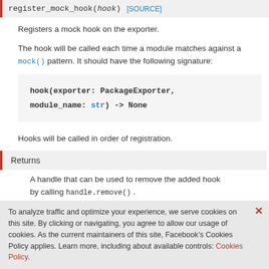register_mock_hook(hook) [SOURCE]
Registers a mock hook on the exporter.
The hook will be called each time a module matches against a mock() pattern. It should have the following signature:
Hooks will be called in order of registration.
Returns
A handle that can be used to remove the added hook by calling handle.remove() .
_
To analyze traffic and optimize your experience, we serve cookies on this site. By clicking or navigating, you agree to allow our usage of cookies. As the current maintainers of this site, Facebook’s Cookies Policy applies. Learn more, including about available controls: Cookies Policy.